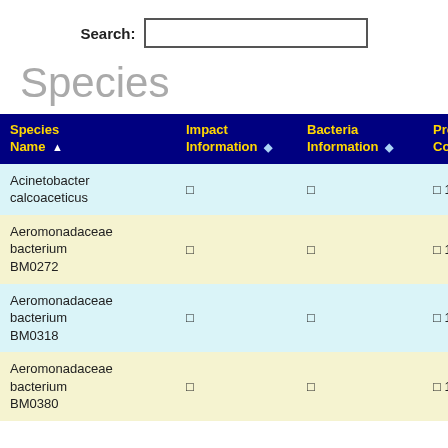Search:
Species
| Species Name | Impact Information | Bacteria Information | Products Containing |
| --- | --- | --- | --- |
| Acinetobacter calcoaceticus | icon | icon | icon 1 |
| Aeromonadaceae bacterium BM0272 | icon | icon | icon 1 |
| Aeromonadaceae bacterium BM0318 | icon | icon | icon 1 |
| Aeromonadaceae bacterium BM0380 | icon | icon | icon 1 |